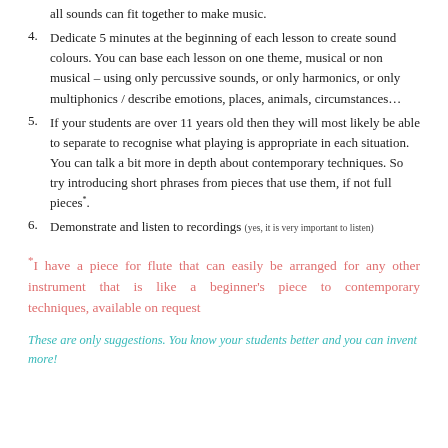all sounds can fit together to make music.
4. Dedicate 5 minutes at the beginning of each lesson to create sound colours. You can base each lesson on one theme, musical or non musical – using only percussive sounds, or only harmonics, or only multiphonics / describe emotions, places, animals, circumstances…
5. If your students are over 11 years old then they will most likely be able to separate to recognise what playing is appropriate in each situation. You can talk a bit more in depth about contemporary techniques. So try introducing short phrases from pieces that use them, if not full pieces*.
6. Demonstrate and listen to recordings (yes, it is very important to listen)
*I have a piece for flute that can easily be arranged for any other instrument that is like a beginner's piece to contemporary techniques, available on request
These are only suggestions. You know your students better and you can invent more!